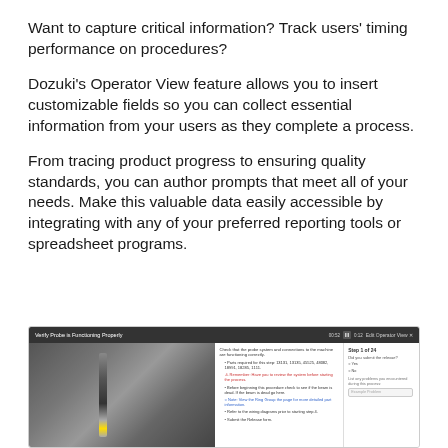Want to capture critical information? Track users' timing performance on procedures?
Dozuki's Operator View feature allows you to insert customizable fields so you can collect essential information from your users as they complete a process.
From tracing product progress to ensuring quality standards, you can author prompts that meet all of your needs. Make this valuable data easily accessible by integrating with any of your preferred reporting tools or spreadsheet programs.
[Figure (screenshot): Screenshot of Dozuki's Operator View interface showing a procedure titled 'Verify Probe is Functioning Properly' with a CNC machine image on the left, step instructions in the center, and a form panel on the right with 'Step 1 of 24', a yes/no question and an example problem text field.]